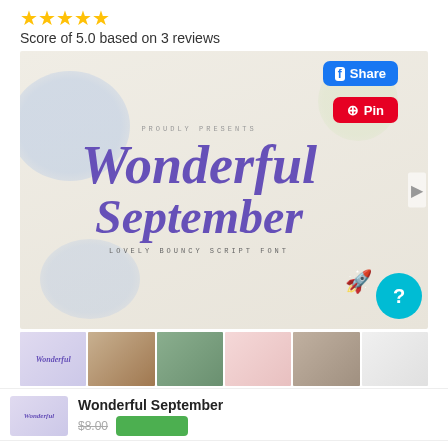⭐⭐⭐⭐⭐ Score of 5.0 based on 3 reviews
[Figure (illustration): Promotional image for 'Wonderful September' font showing script lettering in purple on a floral background, with PROUDLY PRESENTS text above and LOVELY BOUNCY SCRIPT FONT below. Facebook Share and Pinterest Pin buttons overlay the top right. A navigation arrow on the right edge, a teal help circle and rocket icon in the bottom right.]
[Figure (screenshot): Thumbnail strip showing 6 small preview images of the Wonderful September font in various applications.]
Wonderful September
Sign in with Google